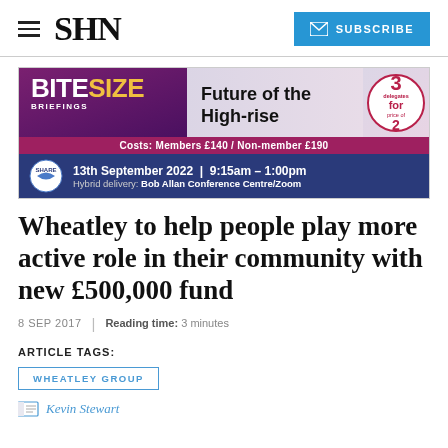SHN | SUBSCRIBE
[Figure (infographic): Bitesize Briefings advertisement banner: Future of the High-rise event, 3 delegates for price of 2, Costs: Members £140 / Non-member £190, 13th September 2022 | 9:15am - 1:00pm, Hybrid delivery: Bob Allan Conference Centre/Zoom]
Wheatley to help people play more active role in their community with new £500,000 fund
8 SEP 2017 | Reading time: 3 minutes
ARTICLE TAGS:
WHEATLEY GROUP
Kevin Stewart